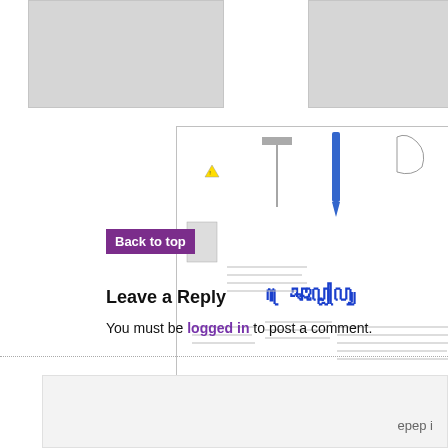[Figure (screenshot): Two partially visible gray image boxes at top of page, part of a website gallery or media row]
[Figure (screenshot): Thumbnail of a handwritten/illustrated document page with images of lab equipment, animals, and handwritten text, with a blue bold 'boppu' heading]
[Figure (screenshot): Partially visible second document thumbnail on the right, showing colored text blocks in cyan and turquoise]
Back to top
Leave a Reply
You must be logged in to post a comment.
epep i